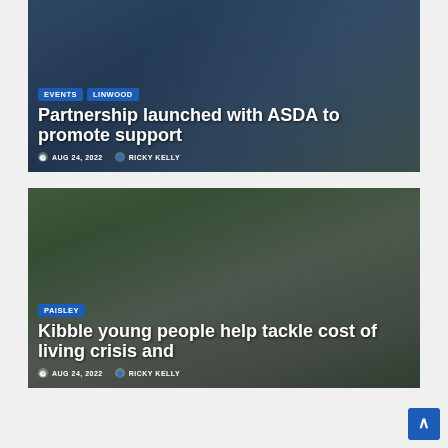[Figure (photo): Photo of people at an ASDA store with the Partnership launched with ASDA to promote support article card]
Partnership launched with ASDA to promote support
EVENTS  LINWOOD  AUG 24, 2022  RICKY KELLY
[Figure (photo): Photo of people standing by a van with the Kibble young people help tackle cost of living crisis article card]
Kibble young people help tackle cost of living crisis and
PAISLEY  AUG 24, 2022  RICKY KELLY